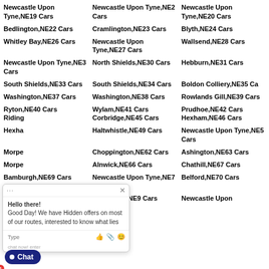Newcastle Upon Tyne,NE19 Cars
Newcastle Upon Tyne,NE2 Cars
Newcastle Upon Tyne,NE20 Cars
Bedlington,NE22 Cars
Cramlington,NE23 Cars
Blyth,NE24 Cars
Whitley Bay,NE26 Cars
Newcastle Upon Tyne,NE27 Cars
Wallsend,NE28 Cars
Newcastle Upon Tyne,NE3 Cars
North Shields,NE30 Cars
Hebburn,NE31 Cars
South Shields,NE33 Cars
South Shields,NE34 Cars
Boldon Colliery,NE35 Cars
Washington,NE37 Cars
Washington,NE38 Cars
Rowlands Gill,NE39 Cars
Ryton,NE40 Cars
Wylam,NE41 Cars
Prudhoe,NE42 Cars
Riding
Corbridge,NE45 Cars
Hexham,NE46 Cars
Hexha
Haltwhistle,NE49 Cars
Newcastle Upon Tyne,NE5 Cars
Morpe
Choppington,NE62 Cars
Ashington,NE63 Cars
Morpe
Alnwick,NE66 Cars
Chathill,NE67 Cars
Bamburgh,NE69 Cars
Newcastle Upon Tyne,NE7 Cars
Belford,NE70 Cars
Gateshead,NE8 Cars
Gateshead,NE9 Cars
Newcastle Upon